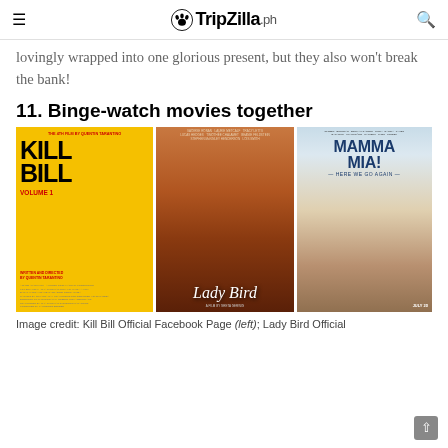TripZilla.ph
lovingly wrapped into one glorious present, but they also won't break the bank!
11. Binge-watch movies together
[Figure (photo): Three movie posters side by side: Kill Bill Volume 1, Lady Bird, and Mamma Mia! Here We Go Again]
Image credit: Kill Bill Official Facebook Page (left); Lady Bird Official